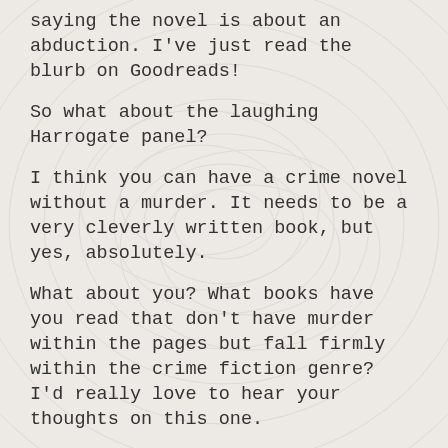saying the novel is about an abduction. I've just read the blurb on Goodreads!
So what about the laughing Harrogate panel?
I think you can have a crime novel without a murder. It needs to be a very cleverly written book, but yes, absolutely.
What about you? What books have you read that don't have murder within the pages but fall firmly within the crime fiction genre? I'd really love to hear your thoughts on this one.
Related Posts:
[Figure (photo): Book cover thumbnail - dark blue tones with a person near water]
[Figure (photo): Book cover thumbnail - teal/dark with stylized text, possibly 'Burial']